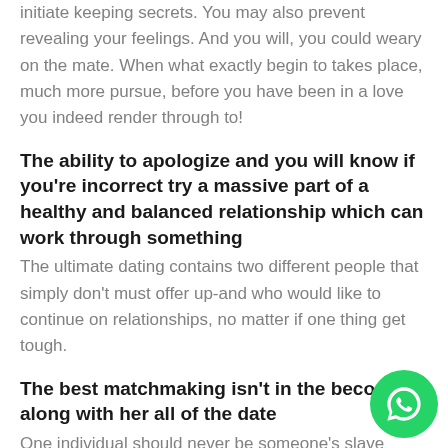initiate keeping secrets. You may also prevent revealing your feelings. And you will, you could weary on the mate. When what exactly begin to takes place, much more pursue, before you have been in a love you indeed render through to!
The ability to apologize and you will know if you're incorrect try a massive part of a healthy and balanced relationship which can work through something
The ultimate dating contains two different people that simply don't must offer up-and who would like to continue on relationships, no matter if one thing get tough.
The best matchmaking isn't in the becoming along with her all of the date
One individual should never be someone's slave otherwise lower when you look at the a relationship. That produces emotions out of outrage, resentment and you may unhappiness, that renders a romance bring.